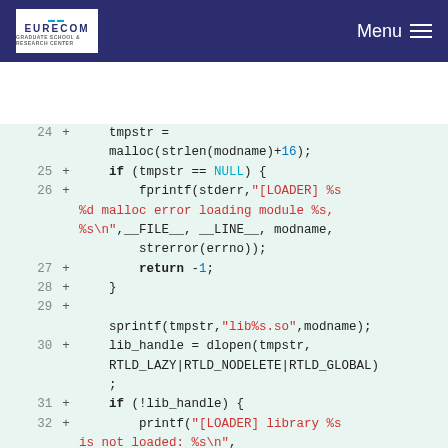EURECOM | Menu
[Figure (screenshot): Code diff viewer showing C code lines 24-35 with line numbers and + markers on a light green background. Code includes tmpstr malloc, NULL check with fprintf error, sprintf, dlopen, and library handle check.]